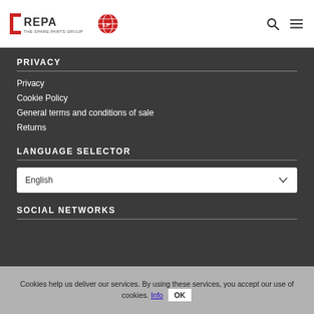REPA – The Spare Parts Group
PRIVACY
Privacy
Cookie Policy
General terms and conditions of sale
Returns
LANGUAGE SELECTOR
English
SOCIAL NETWORKS
Cookies help us deliver our services. By using these services, you accept our use of cookies. Info OK